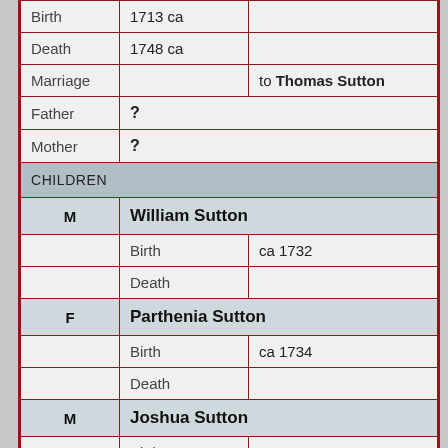| Birth | 1713 ca |  |
| Death | 1748 ca |  |
| Marriage |  | to Thomas Sutton |
| Father | ? |  |
| Mother | ? |  |
| CHILDREN |  |  |
| M | William Sutton |  |
| Birth | ca 1732 |  |
| Death |  |  |
| F | Parthenia Sutton |  |
| Birth | ca 1734 |  |
| Death |  |  |
| M | Joshua Sutton |  |
| Birth | ca 1736 |  |